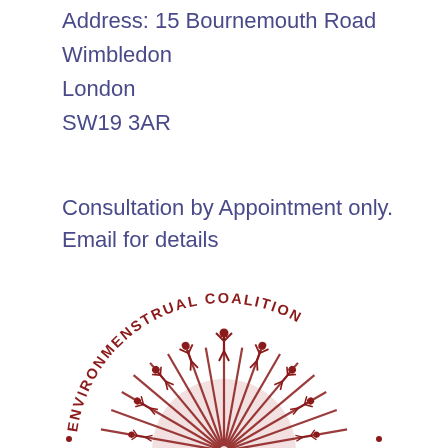Address: 15 Bournemouth Road
Wimbledon
London
SW19 3AR
Consultation by Appointment only. Email for details
[Figure (logo): Environmenstrual Coalition circular logo in dark red, showing figures with raised arms radiating outward like a sunburst, with the text ENVIRONMENSTRUAL COALITION arranged in a semicircle around the top]